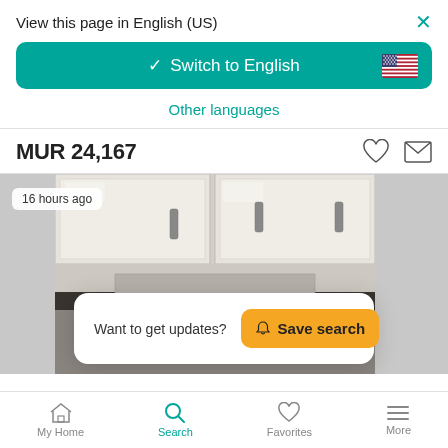View this page in English (US)
Switch to English
Other languages
MUR 24,167
[Figure (photo): Kitchen interior with white cabinets, dark countertop, photographed from below]
16 hours ago
Want to get updates?
Save search
My Home  Search  Favorites  More